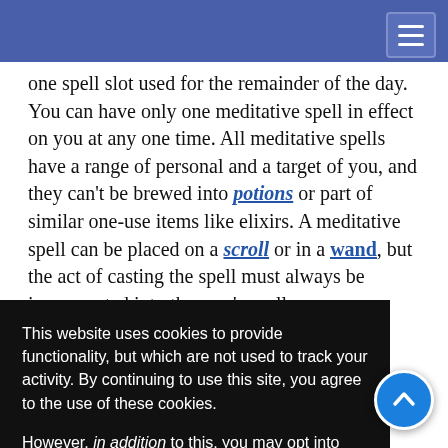one spell slot used for the remainder of the day. You can have only one meditative spell in effect on you at any one time. All meditative spells have a range of personal and a target of you, and they can’t be brewed into potions or part of similar one-use items like elixirs. A meditative spell can be placed on a scroll or in a wand, but the act of casting the spell must always be incorporated into the user’s spell- [partially obscured] for a character [partially obscured] Magic Device [partially obscured]h some of [partially obscured] they can’t be [partially obscured]. Spontaneous [partially obscured]annot benefit [partially obscured]nor can [partially obscured]ut preparati[on] [partially obscured]n, since part of [partially obscured]g the effects
This website uses cookies to provide functionality, but which are not used to track your activity. By continuing to use this site, you agree to the use of these cookies.

However, in addition to this, you may opt into your activity being tracked in order to help us improve our service.

For more information, please click here